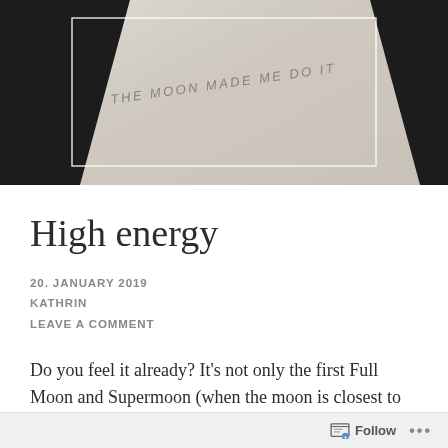[Figure (photo): A close-up photograph of a white fabric/cloth item (appears to be a bag or tote) with the text 'THE MOON MADE ME DO IT' printed on it, against a dark/black background. A white rectangular border is overlaid on the dark background.]
High energy
20. JANUARY 2019
KATHRIN
LEAVE A COMMENT
Do you feel it already? It's not only the first Full Moon and Supermoon (when the moon is closest to